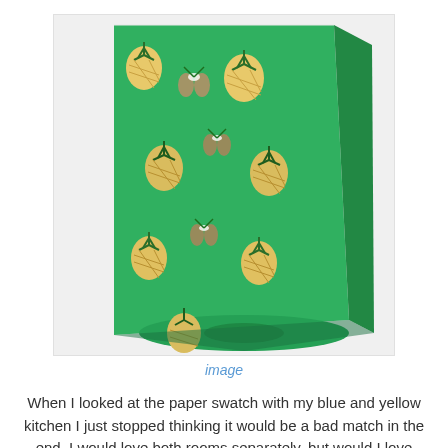[Figure (photo): A roll of green wallpaper with a pineapple and tropical floral pattern in yellow, pink, and dark green, shown partially unrolled.]
image
When I looked at the paper swatch with my blue and yellow kitchen I just stopped thinking it would be a bad match in the end.  I would love both rooms separately, but would I love